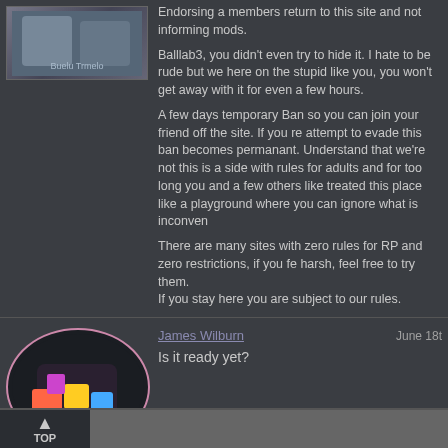Endorsing a members return to this site and not informing mods.
Balllab3, you didn't even try to hide it. I hate to be rude but we here on the stupid like you, you won't get away with it for even a few hours.
A few days temporary Ban so you can join your friend off the site. If you re attempt to evade this ban becomes permanant. Understand that we're not this is a side with rules for adults and for too long you and a few others like treated this place like a playground where you can ignore what is inconven
There are many sites with zero rules for RP and zero restrictions, if you fe harsh, feel free to try them.
If you stay here you are subject to our rules.
James Wilburn
June 18t
Is it ready yet?
Page 1 of 87   1  2  3  11  5
Total page views: , page views today: 0
All times are GMT. The time now is 12:41 PM.
-- Anime OTK Original
Powered By vBulleti
©AnimeOTK.com 2007